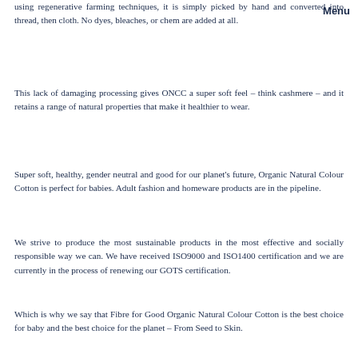using regenerative farming techniques, it is simply picked by hand and converted into thread, then cloth. No dyes, bleaches, or chemicals are added at all.
Menu
This lack of damaging processing gives ONCC a super soft feel – think cashmere – and it retains a range of natural properties that make it healthier to wear.
Super soft, healthy, gender neutral and good for our planet's future, Organic Natural Colour Cotton is perfect for babies. Adult fashion and homeware products are in the pipeline.
We strive to produce the most sustainable products in the most effective and socially responsible way we can. We have received ISO9000 and ISO1400 certification and we are currently in the process of renewing our GOTS certification.
Which is why we say that Fibre for Good Organic Natural Colour Cotton is the best choice for baby and the best choice for the planet – From Seed to Skin.